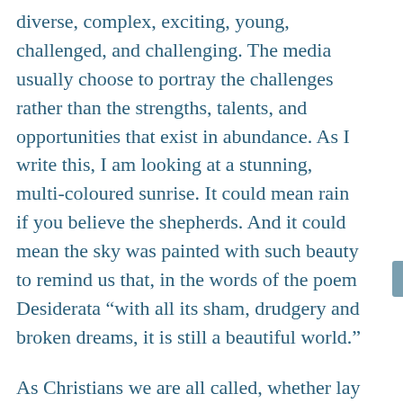diverse, complex, exciting, young, challenged, and challenging. The media usually choose to portray the challenges rather than the strengths, talents, and opportunities that exist in abundance. As I write this, I am looking at a stunning, multi-coloured sunrise. It could mean rain if you believe the shepherds. And it could mean the sky was painted with such beauty to remind us that, in the words of the poem Desiderata “with all its sham, drudgery and broken dreams, it is still a beautiful world.”
As Christians we are all called, whether lay or ordained, to share God’s love with others. Sometimes the “sham, drudgery and broken dreams” can feel overwhelming. And that’s